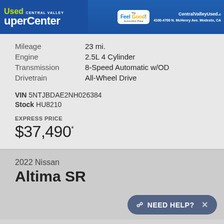[Figure (photo): Central Valley Used SuperCenter dealer banner with 'The Feel Good Automotive Place' logo and address: 4100-4700 N. McHenry Ave. Modesto, CA. CentralValleyUsed.com shown.]
| Mileage | 23 mi. |
| Engine | 2.5L 4 Cylinder |
| Transmission | 8-Speed Automatic w/OD |
| Drivetrain | All-Wheel Drive |
VIN 5NTJBDAE2NH026384
Stock HU8210
EXPRESS PRICE
$37,490*
2022 Nissan
Altima SR